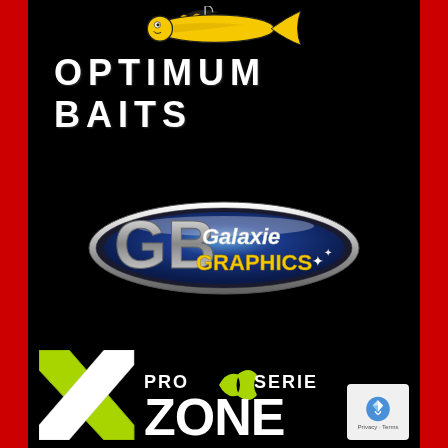[Figure (logo): Optimum Baits logo with yellow fish lure illustration above text 'OPTIMUM BAITS' in white stencil font on black background]
[Figure (logo): GB Galaxie Graphics logo - chrome oval badge with blue center, 'GB' large letters and 'Galaxie GRAPHICS' text in white and yellow]
[Figure (logo): X Zone Pro Series logo - large green/white X with 'PRO SERIE' text and 'ZONE' lettering in white on black background]